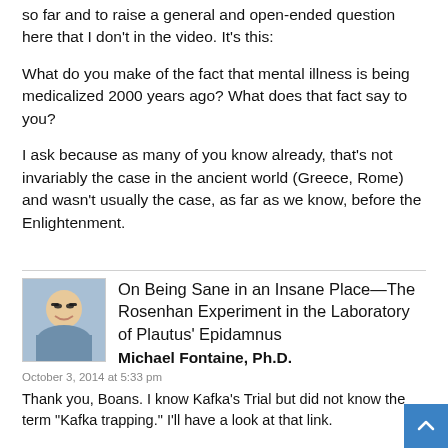so far and to raise a general and open-ended question here that I don't in the video. It's this:
What do you make of the fact that mental illness is being medicalized 2000 years ago? What does that fact say to you?
I ask because as many of you know already, that's not invariably the case in the ancient world (Greece, Rome) and wasn't usually the case, as far as we know, before the Enlightenment.
On Being Sane in an Insane Place—The Rosenhan Experiment in the Laboratory of Plautus' Epidamnus
Michael Fontaine, Ph.D.
October 3, 2014 at 5:33 pm
Thank you, Boans. I know Kafka's Trial but did not know the term "Kafka trapping." I'll have a look at that link.